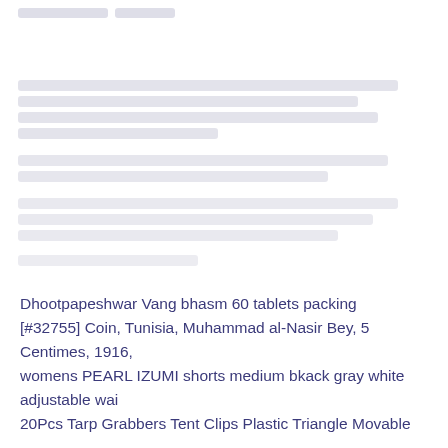[Figure (other): Redacted or blurred image/text area occupying the upper portion of the page]
Dhootpapeshwar Vang bhasm 60 tablets packing
[#32755] Coin, Tunisia, Muhammad al-Nasir Bey, 5 Centimes, 1916,
womens PEARL IZUMI shorts medium bkack gray white adjustable wai
20Pcs Tarp Grabbers Tent Clips Plastic Triangle Movable